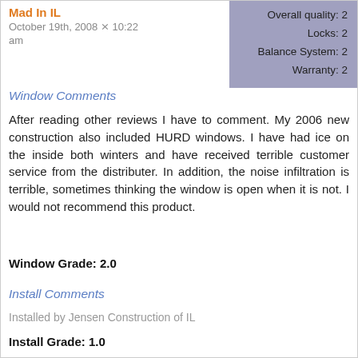Mad In IL
October 19th, 2008 at 10:22 am
| Overall quality: 2 |
| Locks: 2 |
| Balance System: 2 |
| Warranty: 2 |
Window Comments
After reading other reviews I have to comment. My 2006 new construction also included HURD windows. I have had ice on the inside both winters and have received terrible customer service from the distributer. In addition, the noise infiltration is terrible, sometimes thinking the window is open when it is not. I would not recommend this product.
Window Grade: 2.0
Install Comments
Installed by Jensen Construction of IL
Install Grade: 1.0